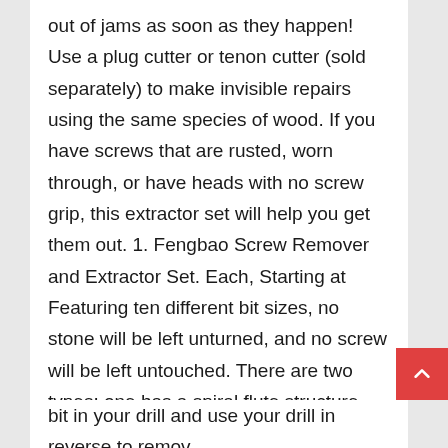out of jams as soon as they happen! Use a plug cutter or tenon cutter (sold separately) to make invisible repairs using the same species of wood. If you have screws that are rusted, worn through, or have heads with no screw grip, this extractor set will help you get them out. 1. Fengbao Screw Remover and Extractor Set. Each, Starting at Featuring ten different bit sizes, no stone will be left unturned, and no screw will be left untouched. There are two types: one has a spiral flute structure, commonly called an easy out after the trademarked name EZ-Out, the other has a .  Each, Starting at The Vampire Professional Tools Vampliers is the best screw extractor for jobs that require more than just a bit you fit on the end of your drill. Simply put the bit in your drill and use your drill in reverse to remove the stripped screw! Additional tools of different sizes